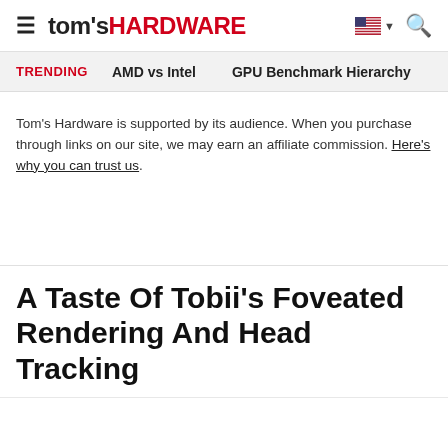tom's HARDWARE
TRENDING   AMD vs Intel   GPU Benchmark Hierarchy
Tom's Hardware is supported by its audience. When you purchase through links on our site, we may earn an affiliate commission. Here's why you can trust us.
A Taste Of Tobii's Foveated Rendering And Head Tracking